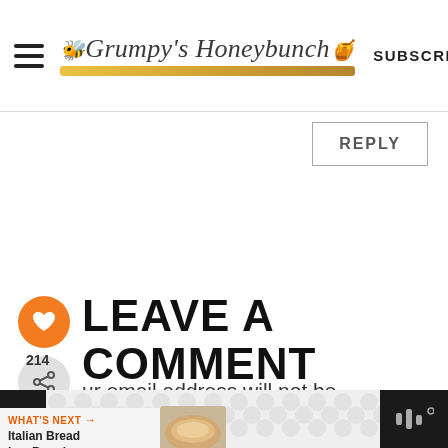Grumpy's Honeybunch | SUBSCRIBE
REPLY
LEAVE A COMMENT
214
Your email address will not be published. Required fields are marked *
[Figure (screenshot): What's Next promo bar showing Italian Bread in a Bread... with a thumbnail image of bread]
[Figure (screenshot): Bottom ad bar with dark sides and light center showing circular dot pattern, letter R on left and sound wave icon on right]